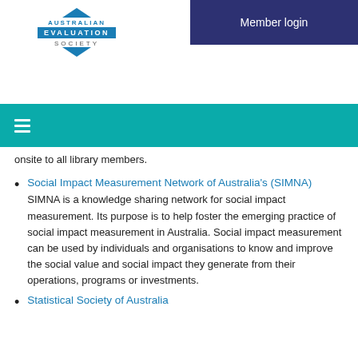[Figure (logo): Australian Evaluation Society logo with diamond shape and blue text]
Member login
[Figure (screenshot): Teal navigation bar with hamburger menu icon]
onsite to all library members.
Social Impact Measurement Network of Australia's (SIMNA)
SIMNA is a knowledge sharing network for social impact measurement. Its purpose is to help foster the emerging practice of social impact measurement in Australia. Social impact measurement can be used by individuals and organisations to know and improve the social value and social impact they generate from their operations, programs or investments.
Statistical Society of Australia